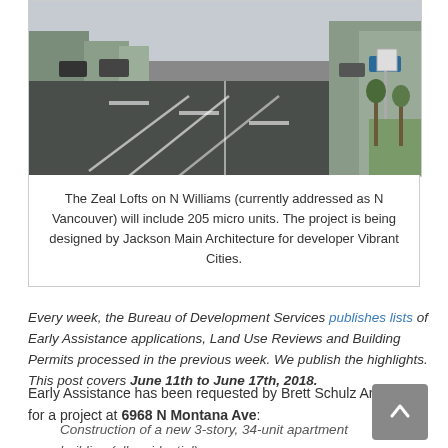[Figure (photo): Street-level photo of N Williams/N Vancouver Ave showing a multi-lane road with vehicles, trees, and buildings on both sides.]
The Zeal Lofts on N Williams (currently addressed as N Vancouver) will include 205 micro units. The project is being designed by Jackson Main Architecture for developer Vibrant Cities.
Every week, the Bureau of Development Services publishes lists of Early Assistance applications, Land Use Reviews and Building Permits processed in the previous week. We publish the highlights. This post covers June 11th to June 17th, 2018.
Early Assistance has been requested by Brett Schulz Architect for a project at 6968 N Montana Ave:
Construction of a new 3-story, 34-unit apartment building (all residential)...